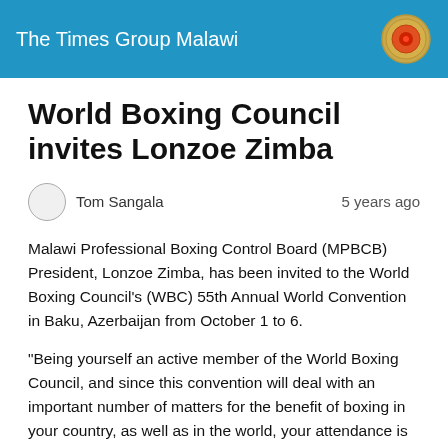The Times Group Malawi
World Boxing Council invites Lonzoe Zimba
Tom Sangala   5 years ago
Malawi Professional Boxing Control Board (MPBCB) President, Lonzoe Zimba, has been invited to the World Boxing Council’s (WBC) 55th Annual World Convention in Baku, Azerbaijan from October 1 to 6.
“Being yourself an active member of the World Boxing Council, and since this convention will deal with an important number of matters for the benefit of boxing in your country, as well as in the world, your attendance is very important.